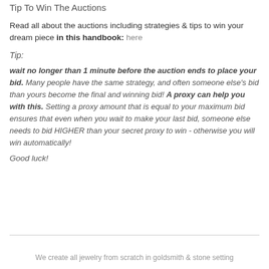Tip To Win The Auctions
Read all about the auctions including strategies & tips to win your dream piece in this handbook: here
Tip:
wait no longer than 1 minute before the auction ends to place your bid. Many people have the same strategy, and often someone else's bid than yours become the final and winning bid! A proxy can help you with this. Setting a proxy amount that is equal to your maximum bid ensures that even when you wait to make your last bid, someone else needs to bid HIGHER than your secret proxy to win - otherwise you will win automatically!
Good luck!
We create all jewelry from scratch in goldsmith & stone setting